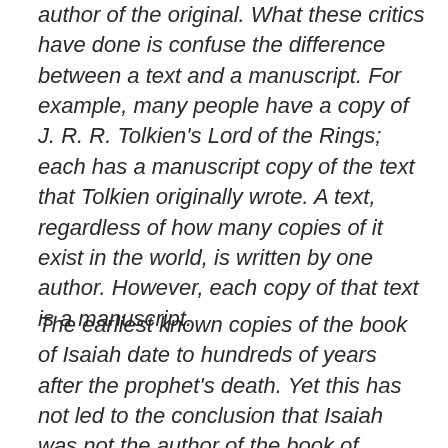author of the original. What these critics have done is confuse the difference between a text and a manuscript. For example, many people have a copy of J. R. R. Tolkien's Lord of the Rings; each has a manuscript copy of the text that Tolkien originally wrote. A text, regardless of how many copies of it exist in the world, is written by one author. However, each copy of that text is a manuscript.
The earliest known copies of the book of Isaiah date to hundreds of years after the prophet's death. Yet this has not led to the conclusion that Isaiah was not the author of the book of Isaiah. Clearly the